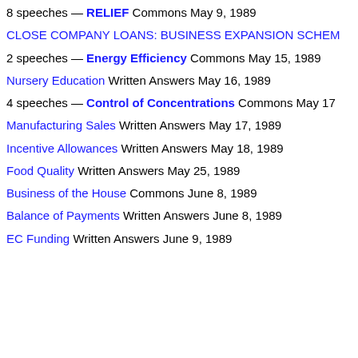8 speeches — RELIEF Commons May 9, 1989
CLOSE COMPANY LOANS: BUSINESS EXPANSION SCHEME
2 speeches — Energy Efficiency Commons May 15, 1989
Nursery Education Written Answers May 16, 1989
4 speeches — Control of Concentrations Commons May 17
Manufacturing Sales Written Answers May 17, 1989
Incentive Allowances Written Answers May 18, 1989
Food Quality Written Answers May 25, 1989
Business of the House Commons June 8, 1989
Balance of Payments Written Answers June 8, 1989
EC Funding Written Answers June 9, 1989